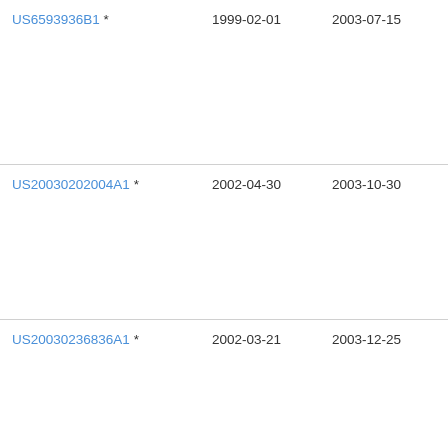| Patent | Filing Date | Publication Date | Assignee |
| --- | --- | --- | --- |
| US6593936B1 * | 1999-02-01 | 2003-07-15 | At&... |
| US20030202004A1 * | 2002-04-30 | 2003-10-30 | I-Jo... |
| US20030236836A1 * | 2002-03-21 | 2003-12-25 | Bor... Ern... |
| US20050253852A1 * | 2004-05-17 | 2005-11-17 | Pix... |